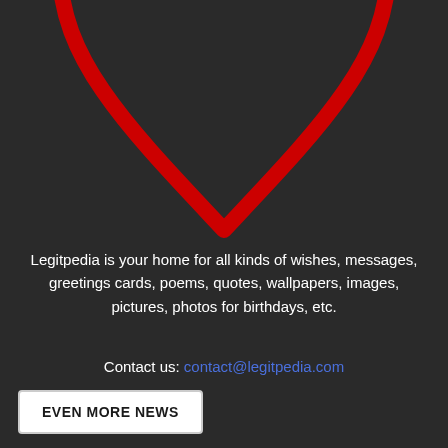[Figure (illustration): Bottom half of a red heart outline on a dark background. The heart shape shows the lower V portion in red against a very dark gray/black background.]
Legitpedia is your home for all kinds of wishes, messages, greetings cards, poems, quotes, wallpapers, images, pictures, photos for birthdays, etc.
Contact us: contact@legitpedia.com
EVEN MORE NEWS